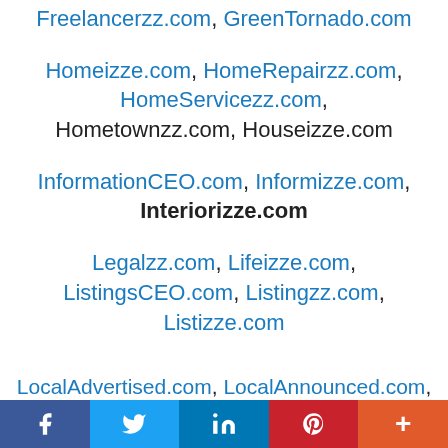Freelancerzz.com, GreenTornado.com
Homeizze.com, HomeRepairzz.com, HomeServicezz.com, Hometownzz.com, Houseizze.com
InformationCEO.com, Informizze.com, Interiorizze.com
Legalzz.com, Lifeizze.com, ListingsCEO.com, Listingzz.com, Listizze.com
LocalAdvertised.com, LocalAnnounced.com, LocalBranded.com, LocalBrowsed.com, LocalBundled.com, LocalCategories.com, LocalCentralized.com, LocalDigitalized.com, LocalDiscovered.com, LocalDisplayed.com, LocalExplored.com, LocalFeatured.com, LocalFollowed.com, LocalHighlighted.com, LocalLifestyled.com, LocalLiked.com, LocalListed.com, LocalMarketed.com, LocalNetworked.com
f  t  in  P  +